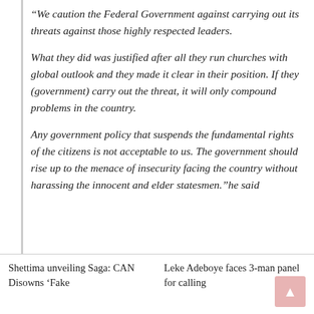“We caution the Federal Government against carrying out its threats against those highly respected leaders.

What they did was justified after all they run churches with global outlook and they made it clear in their position. If they (government) carry out the threat, it will only compound  problems in the country.

Any government policy that suspends the fundamental rights of the citizens is not acceptable to us. The government should rise up to the menace of insecurity facing the country without harassing the innocent and elder statesmen.”he said
Shettima unveiling Saga: CAN Disowns ‘Fake
Leke Adeboye faces 3-man panel for calling